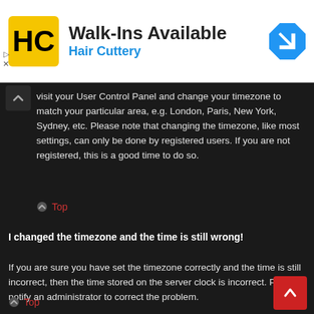[Figure (screenshot): Hair Cuttery advertisement banner with logo, 'Walk-Ins Available' text, blue 'Hair Cuttery' subtitle, and a blue navigation arrow icon on the right.]
visit your User Control Panel and change your timezone to match your particular area, e.g. London, Paris, New York, Sydney, etc. Please note that changing the timezone, like most settings, can only be done by registered users. If you are not registered, this is a good time to do so.
Top
I changed the timezone and the time is still wrong!
If you are sure you have set the timezone correctly and the time is still incorrect, then the time stored on the server clock is incorrect. Please notify an administrator to correct the problem.
Top